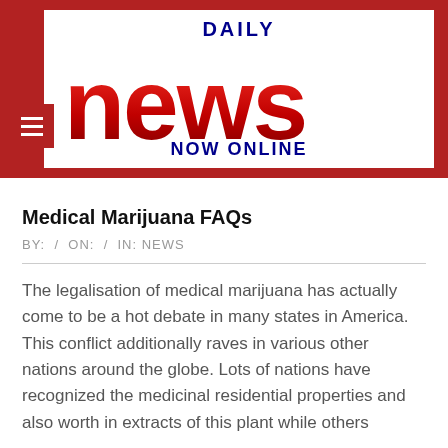[Figure (logo): Daily News Now Online logo — red 3D letters spelling 'news' with 'DAILY' in blue above and 'NOW ONLINE' in blue below, on white background, set within a dark red/crimson header bar with a hamburger menu icon on the left.]
Medical Marijuana FAQs
BY:  /  ON:  /  IN: NEWS
The legalisation of medical marijuana has actually come to be a hot debate in many states in America. This conflict additionally raves in various other nations around the globe. Lots of nations have recognized the medicinal residential properties and also worth in extracts of this plant while others